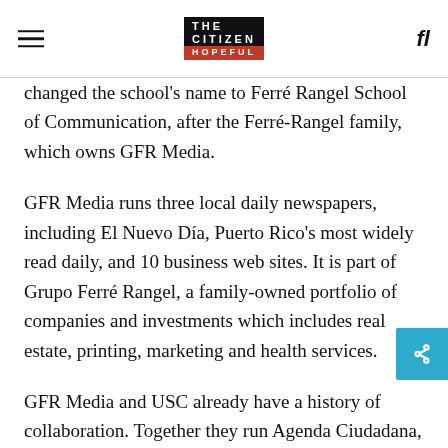THE CITIZEN IS HOPEFUL
changed the school's name to Ferré Rangel School of Communication, after the Ferré-Rangel family, which owns GFR Media.
GFR Media runs three local daily newspapers, including El Nuevo Día, Puerto Rico's most widely read daily, and 10 business web sites. It is part of Grupo Ferré Rangel, a family-owned portfolio of companies and investments which includes real estate, printing, marketing and health services.
GFR Media and USC already have a history of collaboration. Together they run Agenda Ciudadana, a